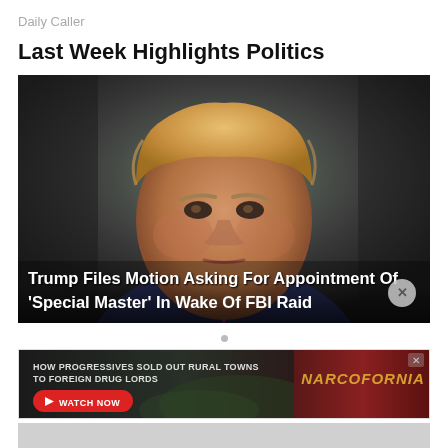Daily Caller
Last Week Highlights Politics
[Figure (photo): Photo of Donald Trump in a dark suit and red tie, looking to the side against a dark background. Overlay headline reads: Trump Files Motion Asking For Appointment Of 'Special Master' In Wake Of FBI Raid]
[Figure (infographic): Advertisement banner: HOW PROGRESSIVES SOLD OUT RURAL TOWNS TO FOREIGN DRUG LORDS - WATCH NOW - NARCOFORNIA]